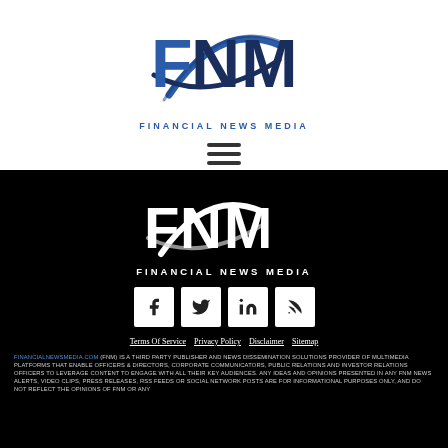[Figure (logo): Financial News Media (FNM) colored logo with blue lettering and swoosh graphic, top center of page]
[Figure (other): Hamburger menu icon (three horizontal lines) below the top logo]
[Figure (logo): Financial News Media (FNM) white logo on black background in footer section]
[Figure (other): Social media icons row: Facebook, Twitter, LinkedIn, RSS - white squares with dark icons]
Terms Of Service   Privacy Policy   Disclaimer   Sitemap
FINANCIALNEWSMEDIA.COM (FNM) IS A THIRD PARTY PUBLISHER AND NEWS DISSEMINATION SOLUTIONS PROVIDER OF MULTIMEDIA PLATFORMS THAT ENABLE OFFICERS & DIRECTORS, CORPORATE COMMUNICATORS, PUBLIC RELATIONS AND INVESTOR RELATIONS OFFICERS TO LEVERAGE CONTENT TO ENGAGE WITH ALL THEIR KEY AUDIENCES. ANY IDEAS AND OPINIONS PRESENTED IN ANY FNM NEWS ALERTS, VIDEO CLIPS, PRESS RELEASES, RSS FEEDS OR SOCIAL NETWORK POSTS ARE FOR INFORMATIONAL PURPOSES ONLY, AND DO NOT REFLECT THE OPINIONS OF FNM OR ANY